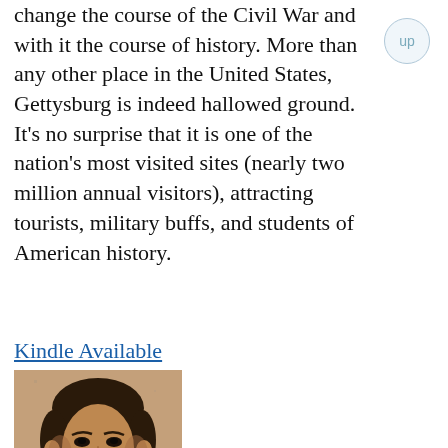change the course of the Civil War and with it the course of history. More than any other place in the United States, Gettysburg is indeed hallowed ground. It's no surprise that it is one of the nation's most visited sites (nearly two million annual visitors), attracting tourists, military buffs, and students of American history.
Kindle Available
[Figure (photo): Portrait photograph of a Civil War era man with a mustache wearing a dark jacket and white collar.]